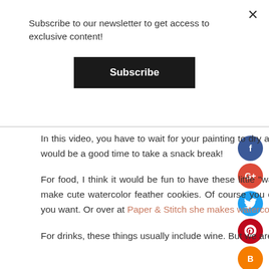Subscribe to our newsletter to get access to exclusive content!
Subscribe
In this video, you have to wait for your painting to dry a little at times before adding more to the painting. This would be a good time to take a snack break!
For food, I think it would be fun to have these little "watercolor" cookies. There's a tutorial at Sweetambs to make cute watercolor feather cookies. Of course you can make them any shape you want with any pattern you want. Or over at Paper & Stitch she makes watercolor popsicles that look super yummy!
For drinks, these things usually include wine. But we are